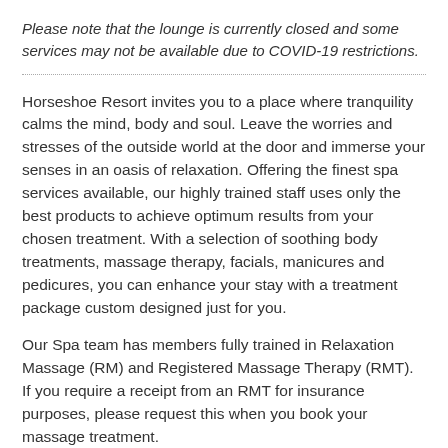Please note that the lounge is currently closed and some services may not be available due to COVID-19 restrictions.
Horseshoe Resort invites you to a place where tranquility calms the mind, body and soul. Leave the worries and stresses of the outside world at the door and immerse your senses in an oasis of relaxation. Offering the finest spa services available, our highly trained staff uses only the best products to achieve optimum results from your chosen treatment. With a selection of soothing body treatments, massage therapy, facials, manicures and pedicures, you can enhance your stay with a treatment package custom designed just for you.
Our Spa team has members fully trained in Relaxation Massage (RM) and Registered Massage Therapy (RMT). If you require a receipt from an RMT for insurance purposes, please request this when you book your massage treatment.